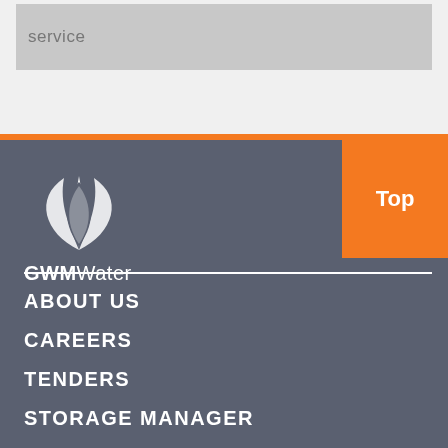[Figure (screenshot): Gray box with partial truncated text at top of page, on light gray background]
[Figure (logo): GWM Water logo - white leaf/flame icon above text 'GWMWater' in white on dark gray background]
ABOUT US
CAREERS
TENDERS
STORAGE MANAGER